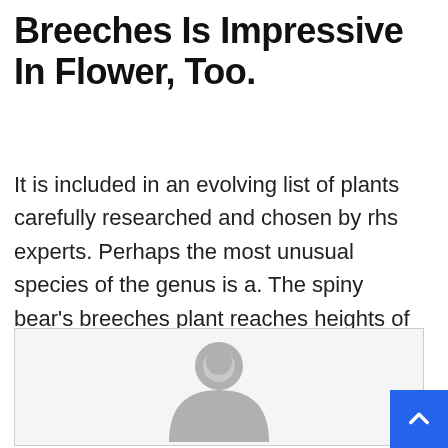Breeches Is Impressive In Flower, Too.
It is included in an evolving list of plants carefully researched and chosen by rhs experts. Perhaps the most unusual species of the genus is a. The spiny bear's breeches plant reaches heights of about 5 feet and blossoms with pretty, hooded flowers in tones of white and cool purple.
[Figure (illustration): Default user avatar placeholder image — a grey silhouette of a person (head and shoulders) on a light grey background, centered inside a bordered box.]